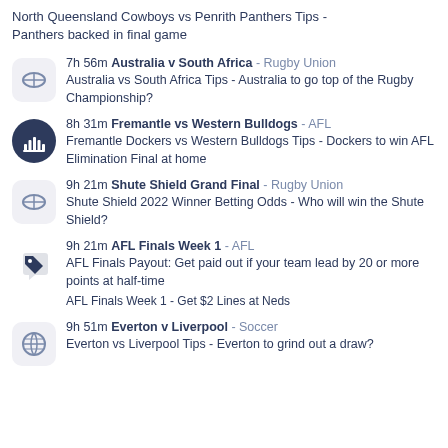North Queensland Cowboys vs Penrith Panthers Tips - Panthers backed in final game
7h 56m Australia v South Africa - Rugby Union
Australia vs South Africa Tips - Australia to go top of the Rugby Championship?
8h 31m Fremantle vs Western Bulldogs - AFL
Fremantle Dockers vs Western Bulldogs Tips - Dockers to win AFL Elimination Final at home
9h 21m Shute Shield Grand Final - Rugby Union
Shute Shield 2022 Winner Betting Odds - Who will win the Shute Shield?
9h 21m AFL Finals Week 1 - AFL
AFL Finals Payout: Get paid out if your team lead by 20 or more points at half-time
AFL Finals Week 1 - Get $2 Lines at Neds
9h 51m Everton v Liverpool - Soccer
Everton vs Liverpool Tips - Everton to grind out a draw?